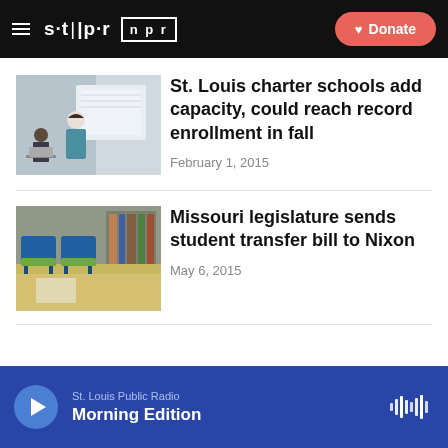stlpr | npr — Donate
[Figure (photo): Teacher standing in front of classroom students with laptops]
St. Louis charter schools add capacity, could reach record enrollment in fall
February 1, 2015
[Figure (photo): Empty classroom with blue chairs and wooden desks]
Missouri legislature sends student transfer bill to Nixon
May 6, 2015
St. Louis Public Radio — Morning Edition